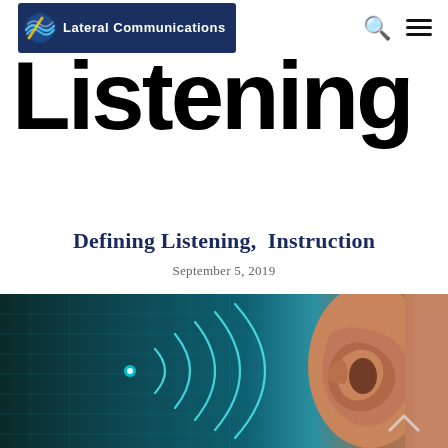Lateral Communications [logo] [search icon] [menu icon]
Listening
Defining Listening, Instruction
September 5, 2019
[Figure (photo): Close-up illustration of a human ear with sound waves on a teal/blue digital grid background, representing listening and audio concepts.]